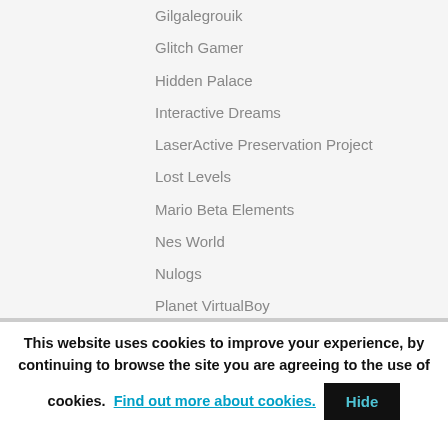Gilgalegrouik
Glitch Gamer
Hidden Palace
Interactive Dreams
LaserActive Preservation Project
Lost Levels
Mario Beta Elements
Nes World
Nulogs
Planet VirtualBoy
Ragey
Sega Saturno
Segagagadomain
SMS Power
This website uses cookies to improve your experience, by continuing to browse the site you are agreeing to the use of cookies. Find out more about cookies. Hide